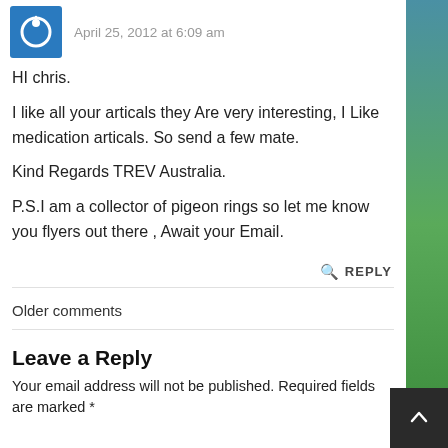April 25, 2012 at 6:09 am
HI chris.

I like all your articals they Are very interesting, I Like medication articals. So send a few mate.

Kind Regards TREV Australia.

P.S.I am a collector of pigeon rings so let me know you flyers out there , Await your Email.
REPLY
Older comments
Leave a Reply
Your email address will not be published. Required fields are marked *